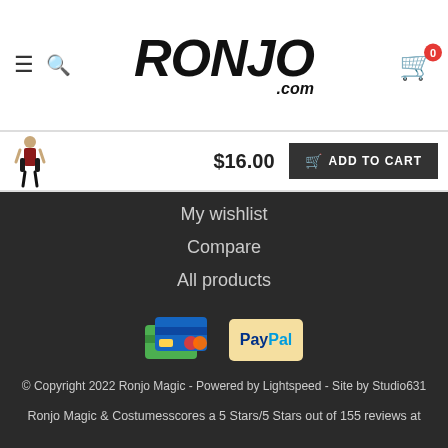Ronjo.com
[Figure (screenshot): Sticky add-to-cart bar with product thumbnail, $16.00 price, and ADD TO CART button]
My wishlist
Compare
All products
[Figure (logo): Payment method icons: credit cards and PayPal]
© Copyright 2022 Ronjo Magic - Powered by Lightspeed - Site by Studio631
Ronjo Magic & Costumesscores a 5 Stars/5 Stars out of 155 reviews at